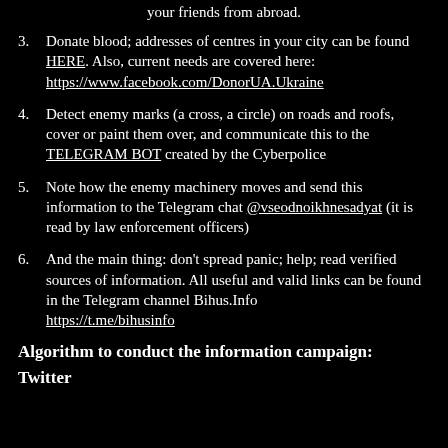your friends from abroad.
3. Donate blood; addresses of centres in your city can be found HERE. Also, current needs are covered here: https://www.facebook.com/DonorUA.Ukraine
4. Detect enemy marks (a cross, a circle) on roads and roofs, cover or paint them over, and communicate this to the TELEGRAM BOT created by the Cyberpolice
5. Note how the enemy machinery moves and send this information to the Telegram chat @vseodnoikhnesadyat (it is read by law enforcement officers)
6. And the main thing: don’t spread panic; help; read verified sources of information. All useful and valid links can be found in the Telegram channel Bihus.Info https://t.me/bihusinfo
Algorithm to conduct the information campaign:
Twitter